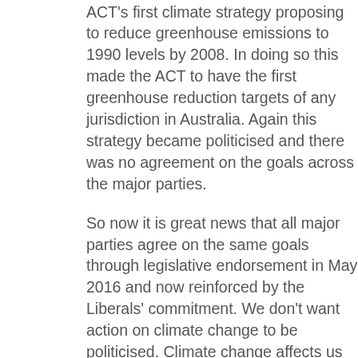ACT's first climate strategy proposing to reduce greenhouse emissions to 1990 levels by 2008. In doing so this made the ACT to have the first greenhouse reduction targets of any jurisdiction in Australia. Again this strategy became politicised and there was no agreement on the goals across the major parties.
So now it is great news that all major parties agree on the same goals through legislative endorsement in May 2016 and now reinforced by the Liberals' commitment. We don't want action on climate change to be politicised. Climate change affects us all and we all need to work together to deal with it. As a community we want to be confident of ongoing and dedicated strong local action on climate change. If we have agreed goals it means we can focus on getting on with reducing emissions. It's time for all parties in other States and the Northern